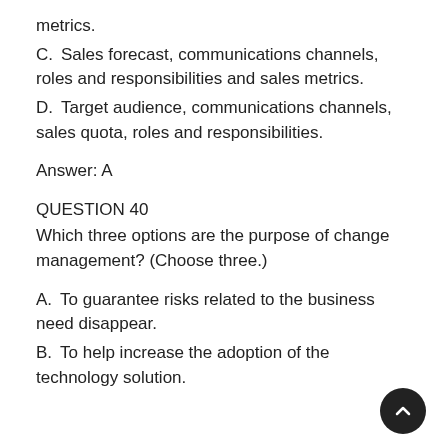metrics.
C.    Sales forecast, communications channels, roles and responsibilities and sales metrics.
D.    Target audience, communications channels, sales quota, roles and responsibilities.
Answer: A
QUESTION 40
Which three options are the purpose of change management? (Choose three.)
A.    To guarantee risks related to the business need disappear.
B.    To help increase the adoption of the technology solution.